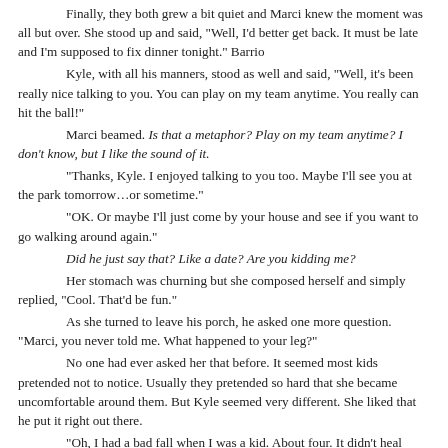Finally, they both grew a bit quiet and Marci knew the moment was all but over. She stood up and said, "Well, I'd better get back. It must be late and I'm supposed to fix dinner tonight." Barrio

Kyle, with all his manners, stood as well and said, "Well, it's been really nice talking to you. You can play on my team anytime. You really can hit the ball!"

Marci beamed. Is that a metaphor? Play on my team anytime? I don't know, but I like the sound of it.

"Thanks, Kyle. I enjoyed talking to you too. Maybe I'll see you at the park tomorrow…or sometime."

"OK. Or maybe I'll just come by your house and see if you want to go walking around again."

Did he just say that? Like a date? Are you kidding me?

Her stomach was churning but she composed herself and simply replied, "Cool. That'd be fun."

As she turned to leave his porch, he asked one more question. "Marci, you never told me. What happened to your leg?"

No one had ever asked her that before. It seemed most kids pretended not to notice. Usually they pretended so hard that she became uncomfortable around them. But Kyle seemed very different. She liked that he put it right out there.

"Oh, I had a bad fall when I was a kid. About four. It didn't heal right and I had to start wearing a brace to give my leg enough strength to help hold me up. "

"Wow. Does it hurt?"

Every minute of every day.

She shook her head. "Nah, I've gotten used to it. My mom bought